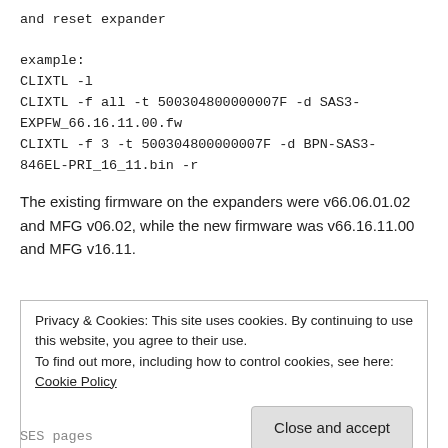and reset expander
example:
CLIXTL -l
CLIXTL -f all -t 500304800000007F -d SAS3-EXPFW_66.16.11.00.fw
CLIXTL -f 3 -t 500304800000007F -d BPN-SAS3-846EL-PRI_16_11.bin -r
The existing firmware on the expanders were v66.06.01.02 and MFG v06.02, while the new firmware was v66.16.11.00 and MFG v16.11.
Privacy & Cookies: This site uses cookies. By continuing to use this website, you agree to their use.
To find out more, including how to control cookies, see here: Cookie Policy
Close and accept
SES pages